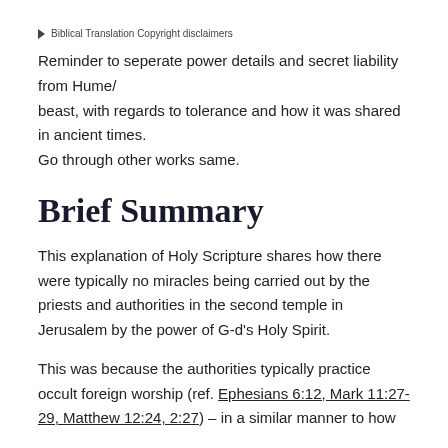▶ Biblical Translation Copyright disclaimers
Reminder to seperate power details and secret liability from Hume/beast, with regards to tolerance and how it was shared in ancient times. Go through other works same.
Brief Summary
This explanation of Holy Scripture shares how there were typically no miracles being carried out by the priests and authorities in the second temple in Jerusalem by the power of G-d's Holy Spirit.
This was because the authorities typically practice occult foreign worship (ref. Ephesians 6:12, Mark 11:27-29, Matthew 12:24, 2:27) – in a similar manner to how